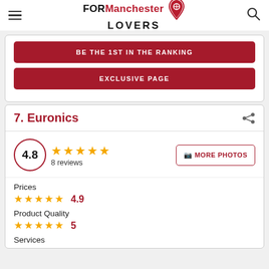[Figure (logo): FORManchester LOVERS logo with map pin icon]
BE THE 1ST IN THE RANKING
EXCLUSIVE PAGE
7. Euronics
4.8 — 8 reviews — MORE PHOTOS
Prices
4.9
Product Quality
5
Services